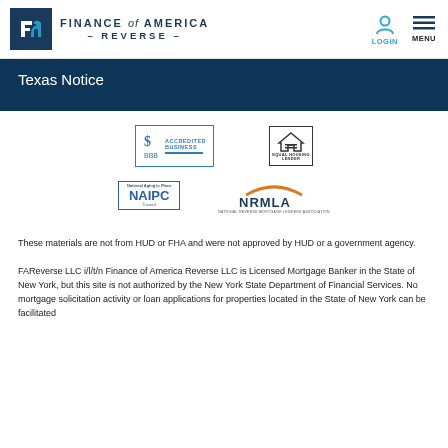Finance of America Reverse — Login — Menu
Texas Notice
[Figure (logo): Four certification/association logos: BBB Accredited Business, Equal Housing Lender, NAIPC (National Aging in Place Council), NRMLA (National Reverse Mortgage Lenders Association)]
These materials are not from HUD or FHA and were not approved by HUD or a government agency.
FAReverse LLC i/l/t/n Finance of America Reverse LLC is Licensed Mortgage Banker in the State of New York, but this site is not authorized by the New York State Department of Financial Services. No mortgage solicitation activity or loan applications for properties located in the State of New York can be facilitated